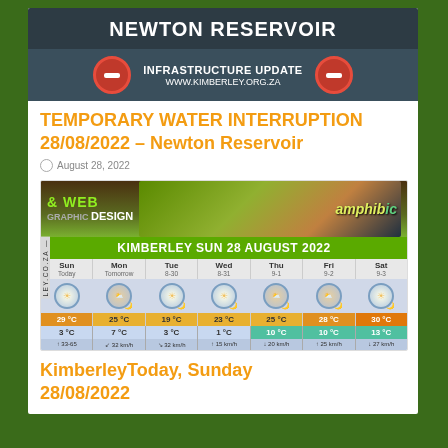NEWTON RESERVOIR
INFRASTRUCTURE UPDATE
WWW.KIMBERLEY.ORG.ZA
TEMPORARY WATER INTERRUPTION 28/08/2022 – Newton Reservoir
August 28, 2022
[Figure (screenshot): Weather widget showing Kimberley Sun 28 August 2022 forecast with Web & Graphic Design advertisement banner. Shows 7-day forecast: Sun 29°C/3°C, Mon 25°C/7°C, Tue 19°C/3°C, Wed 23°C/1°C, Thu 25°C/10°C, Fri 28°C/10°C, Sat 30°C/13°C]
KimberleyToday, Sunday 28/08/2022